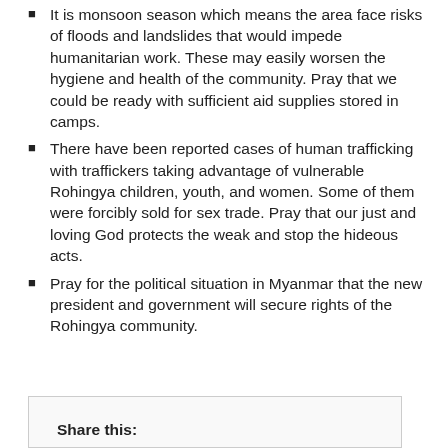It is monsoon season which means the area face risks of floods and landslides that would impede humanitarian work. These may easily worsen the hygiene and health of the community. Pray that we could be ready with sufficient aid supplies stored in camps.
There have been reported cases of human trafficking with traffickers taking advantage of vulnerable Rohingya children, youth, and women. Some of them were forcibly sold for sex trade. Pray that our just and loving God protects the weak and stop the hideous acts.
Pray for the political situation in Myanmar that the new president and government will secure rights of the Rohingya community.
Share this: